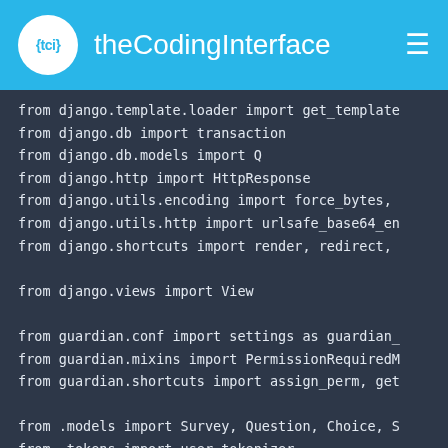{tci} theCodingInterface
from django.template.loader import get_template
from django.db import transaction
from django.db.models import Q
from django.http import HttpResponse
from django.utils.encoding import force_bytes,
from django.utils.http import urlsafe_base64_en
from django.shortcuts import render, redirect,

from django.views import View

from guardian.conf import settings as guardian_
from guardian.mixins import PermissionRequiredM
from guardian.shortcuts import assign_perm, get

from .models import Survey, Question, Choice, S
from .tokens import user_tokenizer

class RegisterView(View):
    def get(self, request):
        return render(request, 'survey/register